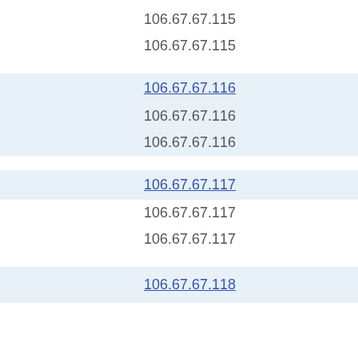106.67.67.115
106.67.67.115
106.67.67.116
106.67.67.116
106.67.67.116
106.67.67.117
106.67.67.117
106.67.67.117
106.67.67.118